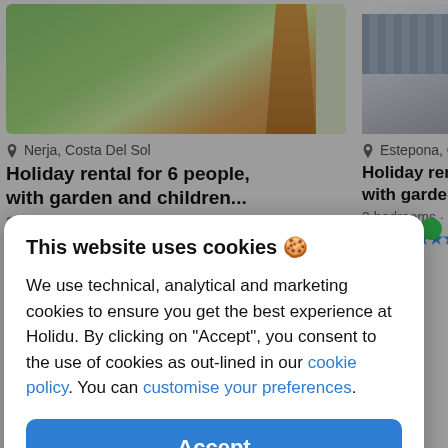[Figure (screenshot): Holiday rental listing card for Nerja, Costa Del Sol showing garden photo with grass and brick path]
[Figure (screenshot): Holiday rental listing card for Estepona, Costa Del Sol showing outdoor furniture photo (partially visible)]
Nerja, Costa Del Sol
Holiday rental for 6 people, with garden and children...
2 bedrooms · 950m to the beach
4.7 ★★★★☆ (34 reviews)
Estepona, Costa De
Holiday rental fo with garden
3 bedrooms · 300m
5.0 ★★★★★ (2 rev
This website uses cookies 🍪
We use technical, analytical and marketing cookies to ensure you get the best experience at Holidu. By clicking on "Accept", you consent to the use of cookies as out-lined in our cookie policy. You can customise your preferences.